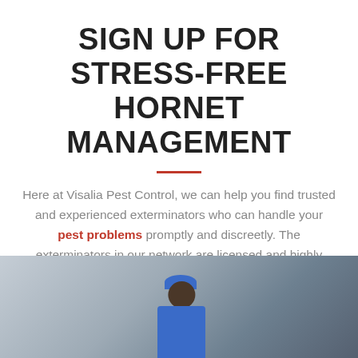SIGN UP FOR STRESS-FREE HORNET MANAGEMENT
Here at Visalia Pest Control, we can help you find trusted and experienced exterminators who can handle your pest problems promptly and discreetly. The exterminators in our network are licensed and highly skilled, not to mention they use safe and tested pest control treatments.
[Figure (photo): A smiling man in a blue uniform and blue cap, standing near a white van, tipping his cap.]